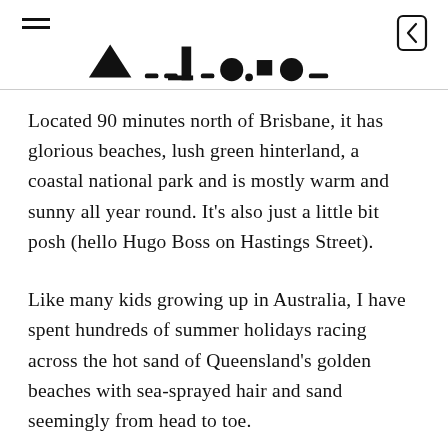[Navigation header with hamburger menu, decorative icons (triangle, numeral 1, circle, square, circle), and back button]
Located 90 minutes north of Brisbane, it has glorious beaches, lush green hinterland, a coastal national park and is mostly warm and sunny all year round. It's also just a little bit posh (hello Hugo Boss on Hastings Street).
Like many kids growing up in Australia, I have spent hundreds of summer holidays racing across the hot sand of Queensland's golden beaches with sea-sprayed hair and sand seemingly from head to toe.